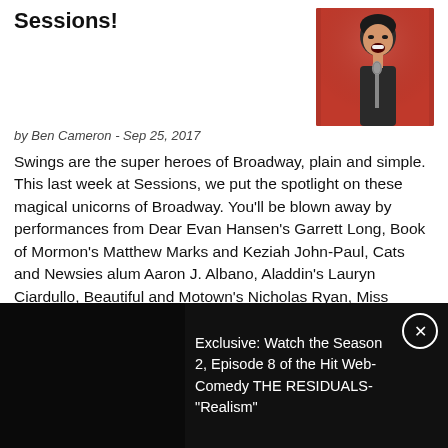Sessions!
by Ben Cameron - Sep 25, 2017
[Figure (photo): A man singing into a microphone on a red-backdrop stage, mouth open wide, captured mid-performance.]
Swings are the super heroes of Broadway, plain and simple. This last week at Sessions, we put the spotlight on these magical unicorns of Broadway. You'll be blown away by performances from Dear Evan Hansen's Garrett Long, Book of Mormon's Matthew Marks and Keziah John-Paul, Cats and Newsies alum Aaron J. Albano, Aladdin's Lauryn Ciardullo, Beautiful and Motown's Nicholas Ryan, Miss Saigon's Viveca Chow, Avenue Q's Jed Resnick and Imari Hardon, Anastasia's Kathryn Boswell and Charlie and the Chocolate Factory's Michael Williams. We also enjoyed performances by Rising Stars Mackenzie Messick and Jose Plaza. ENJOY these incredible talents!
Exclusive: Watch the Season 2, Episode 8 of the Hit Web-Comedy THE RESIDUALS-"Realism"